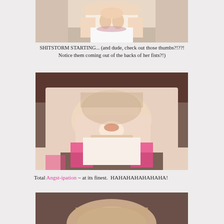[Figure (photo): Partial photo of young child's face cropped at top, child appears to be pulling on pink straps, wearing amber necklace and white shirt]
SHITSTORM STARTING... (and dude, check out those thumbs?!??! Notice them coming out of the backs of her fists?!)
[Figure (photo): Photo of a young toddler girl lying down crying intensely, wearing pink overalls and amber necklace, with messy blonde hair]
Total Angst-ipation ~ at its finest.  HAHAHAHAHAHAHA!
[Figure (photo): Partial photo of top of child's head, cropped at bottom of page]